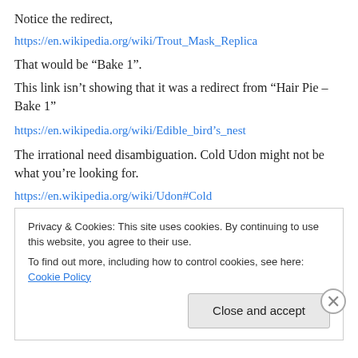Notice the redirect,
https://en.wikipedia.org/wiki/Trout_Mask_Replica
That would be “Bake 1”.
This link isn’t showing that it was a redirect from “Hair Pie – Bake 1”
https://en.wikipedia.org/wiki/Edible_bird’s_nest
The irrational need disambiguation. Cold Udon might not be what you’re looking for.
https://en.wikipedia.org/wiki/Udon#Cold
Privacy & Cookies: This site uses cookies. By continuing to use this website, you agree to their use.
To find out more, including how to control cookies, see here: Cookie Policy
Close and accept